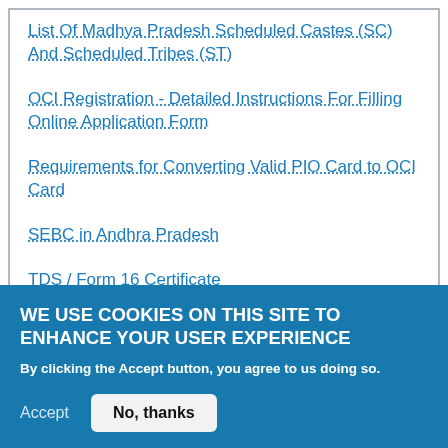List Of Madhya Pradesh Scheduled Castes (SC) And Scheduled Tribes (ST)
OCI Registration - Detailed Instructions For Filling Online Application Form
Requirements for Converting Valid PIO Card to OCI Card
SEBC in Andhra Pradesh
TDS / Form 16 Certificate
WE USE COOKIES ON THIS SITE TO ENHANCE YOUR USER EXPERIENCE
By clicking the Accept button, you agree to us doing so.
Accept
No, thanks